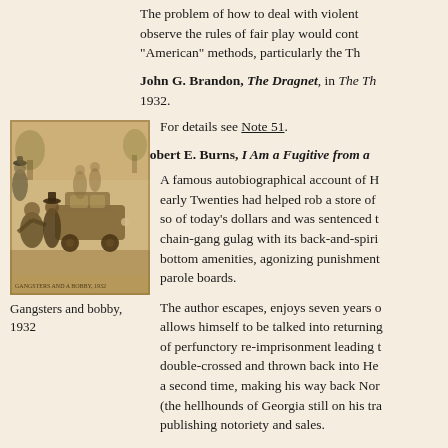The problem of how to deal with violent... observe the rules of fair play would cont... "American" methods, particularly the Th...
John G. Brandon, The Dragnet, in The Th... 1932.
For details see Note 51.
Robert E. Burns, I Am a Fugitive from a...
[Figure (illustration): Black and white illustration of gangsters and a bobby (police officer) with a car, 1932]
Gangsters and bobby, 1932
A famous autobiographical account of H... early Twenties had helped rob a store of... so of today's dollars and was sentenced t... chain-gang gulag with its back-and-spiri... bottom amenities, agonizing punishment... parole boards.
The author escapes, enjoys seven years o... allows himself to be talked into returning... of perfunctory re-imprisonment leading t... double-crossed and thrown back into He... a second time, making his way back Nor... (the hellhounds of Georgia still on his tra... publishing notoriety and sales.